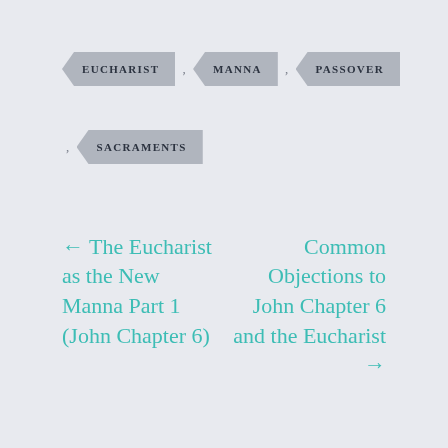EUCHARIST
, MANNA
, PASSOVER
, SACRAMENTS
← The Eucharist as the New Manna Part 1 (John Chapter 6)
Common Objections to John Chapter 6 and the Eucharist →